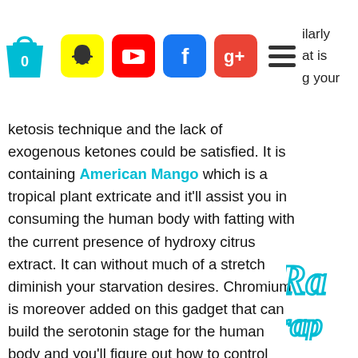[Figure (screenshot): Website header with shopping bag icon, Snapchat, YouTube, Facebook, Google+ social media icons, hamburger menu, and partial text reading 'ilarly at is g your']
ketosis technique and the lack of exogenous ketones could be satisfied. It is containing American Mango which is a tropical plant extricate and it'll assist you in consuming the human body with fatting with the current presence of hydroxy citrus extract. It can without much of a stretch diminish your starvation desires. Chromium is moreover added on this gadget that can build the serotonin stage for the human body and you'll figure out how to control your pressure and temper swings. Potassium is acquired all together that it may without issues work on your digestion and you will actually want to support your power levels. This perspective can likewise be extremely advantageous in building fit weight and your resistance might even get to the next
[Figure (logo): Partial decorative logo/text visible on right side in teal/cyan color, partially cut off]